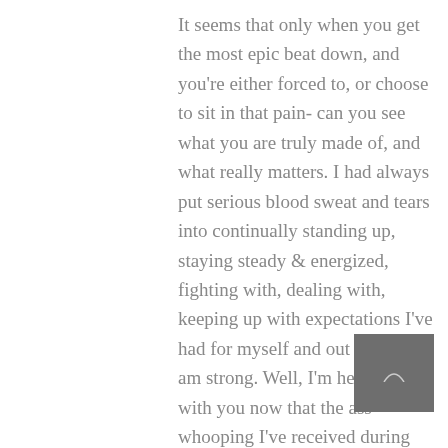It seems that only when you get the most epic beat down, and you're either forced to, or choose to sit in that pain- can you see what you are truly made of, and what really matters. I had always put serious blood sweat and tears into continually standing up, staying steady & energized, fighting with, dealing with, keeping up with expectations I've had for myself and out of life. I am strong. Well, I'm here to share with you now that the ass-whooping I've received during this 700+ day run recently has pulverized me. I've been forced to sit in my pain and have been surprised to find I was ready. It has left me away from here, relishing in days of much needed silence and self-reflection alone, throwing my endless and pointless to-do lists
[Figure (photo): Small dark grey square thumbnail image with a faint arch/semicircle shape in the center, positioned at bottom right of the page.]